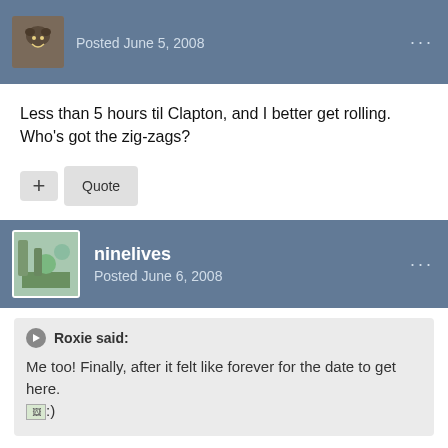Posted June 5, 2008
Less than 5 hours til Clapton, and I better get rolling. Who's got the zig-zags?
+ Quote
ninelives
Posted June 6, 2008
Roxie said:
Me too! Finally, after it felt like forever for the date to get here. :)
:lol: Sure does. I booked my tickets months ago!